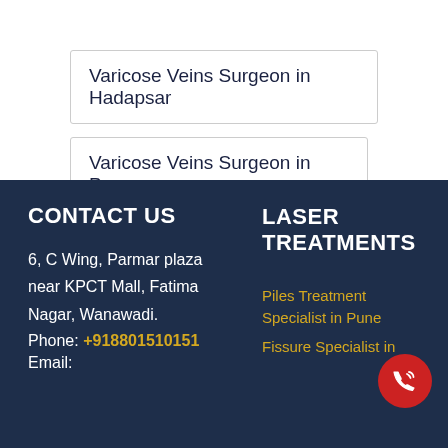Varicose Veins Surgeon in Hadapsar
Varicose Veins Surgeon in Pune
Varicose Veins Treatment in Hadapsar
Varicose Veins Treatment in Pune
CONTACT US
6, C Wing, Parmar plaza near KPCT Mall, Fatima Nagar, Wanawadi.
Phone: +918801510151
Email:
LASER TREATMENTS
Piles Treatment Specialist in Pune
Fissure Specialist in